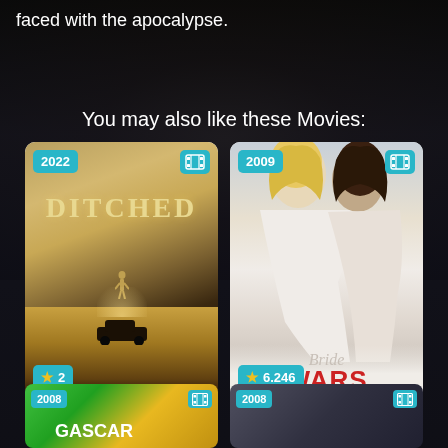faced with the apocalypse.
You may also like these Movies:
[Figure (other): Movie poster for Ditched (2022) showing a dark horror-style poster with yellow/brown gradient background, title text 'DITCHED', a figure silhouette, and a car. Year badge: 2022. Rating badge: 2. Film reel icon in corner.]
Ditched
[Figure (other): Movie poster for Bride Wars (2009) showing two women facing each other, with the title 'Bride Wars' in script and bold red text. Year badge: 2009. Rating badge: 6.246. Film reel icon in corner.]
Bride Wars
[Figure (other): Partial movie card for a 2008 film (Madagascar related) showing colorful animation style. Year badge: 2008. Film reel icon.]
[Figure (other): Partial movie card for a 2008 film showing dark background. Year badge: 2008. Film reel icon.]